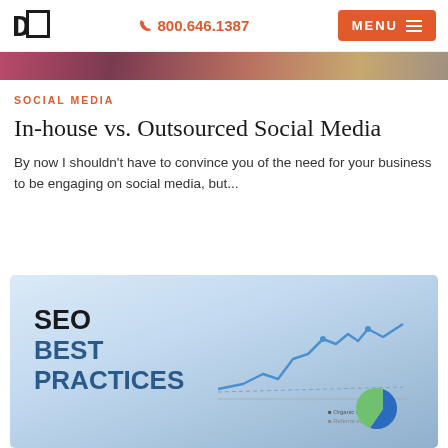DC | 800.646.1387 | MENU
[Figure (photo): Cropped hero image strip showing a blurred photo with warm pink and brown tones]
SOCIAL MEDIA
In-house vs. Outsourced Social Media
By now I shouldn't have to convince you of the need for your business to be engaging on social media, but...
[Figure (photo): Screenshot of a monitor display showing 'SEO BEST PRACTICES' text with a blue line chart and a blue/green pie chart on a light blue background]